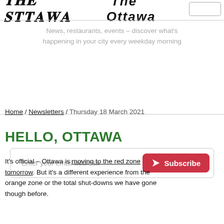THE OTTAWA (logo)
News, restaurants, events – discover what's happening in your city every weekday morning
Enter your email address  Subscribe
Home / Newsletters / Thursday 18 March 2021
HELLO, OTTAWA
It's official – Ottawa is moving to the red zone tomorrow. But it's a different experience from the orange zone or the total shut-downs we have gone though before.